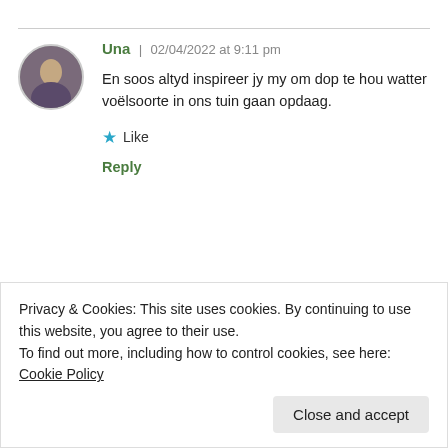Una | 02/04/2022 at 9:11 pm
En soos altyd inspireer jy my om dop te hou watter voëlsoorte in ons tuin gaan opdaag.
Like
Reply
[Figure (photo): Circular avatar of a person (Una), muted tones]
[Figure (photo): Circular avatar of a second commenter (Anna), dark tones]
Anna | 02/04/2022 at 6:11 pm (partially obscured)
Privacy & Cookies: This site uses cookies. By continuing to use this website, you agree to their use.
To find out more, including how to control cookies, see here: Cookie Policy
Close and accept